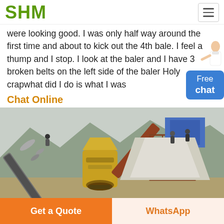SHM
were looking good. I was only half way around the first time and about to kick out the 4th bale. I feel a thump and I stop. I look at the baler and I have 3 broken belts on the left side of the baler Holy crapwhat did I do is what I was
Chat Online
[Figure (photo): Outdoor mining and stone crushing plant with conveyor belts, a cone crusher, and workers on elevated platforms against a mountainous background.]
Get a Quote | WhatsApp